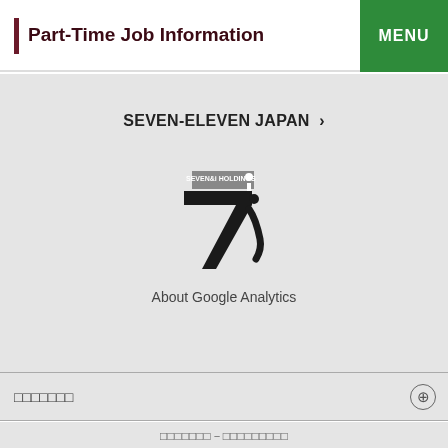Part-Time Job Information
SEVEN-ELEVEN JAPAN ›
[Figure (logo): Seven & i Holdings logo with stylized '7i' mark and text 'SEVEN&i HOLDINGS']
About Google Analytics
□□□□□□□
□□□□□□□-□□□□□□□□□
Copyright © SEVEN-ELEVEN JAPAN CO.,LTD.
All Rights Reserved.